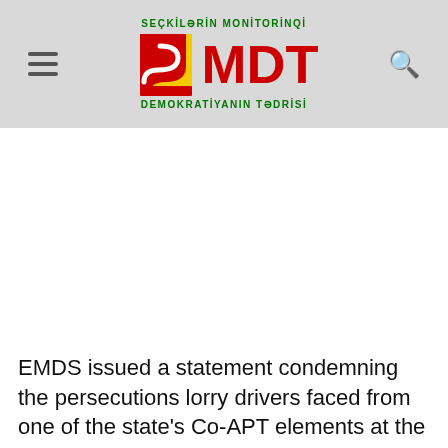[Figure (logo): SMDT logo — Seçkilərin Monitorinqi, SMDT, Demokratiyanın Tədrisi — with red flame/S shape and red MDT text on grey header background]
EMDS issued a statement condemning the persecutions lorry drivers faced from one of the state's Co-APT elements at the